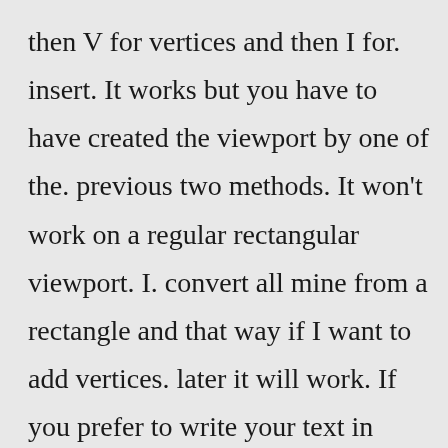then V for vertices and then I for. insert. It works but you have to have created the viewport by one of the. previous two methods. It won't work on a regular rectangular viewport. I. convert all mine from a rectangle and that way if I want to add vertices. later it will work. If you prefer to write your text in model space, mulitply your text height by your dimscale. p.s. text height x dimscale = m.s. text height. Here is